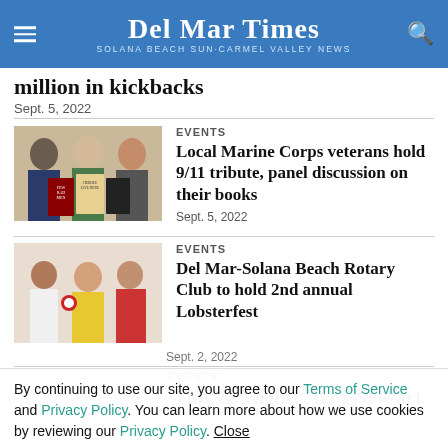Del Mar Times – Solana Beach Sun-Carmel Valley News
million in kickbacks
Sept. 5, 2022
[Figure (photo): Three people smiling – two men and a woman – with book covers visible including 'Heroes Live Here' and 'Few Bad Men']
EVENTS
Local Marine Corps veterans hold 9/11 tribute, panel discussion on their books
Sept. 5, 2022
[Figure (photo): Group photo of people at a Rotary Club event holding decorations]
EVENTS
Del Mar-Solana Beach Rotary Club to hold 2nd annual Lobsterfest
Sept. 2, 2022
EVENTS
'Tiny & Mighty Art': New art
By continuing to use our site, you agree to our Terms of Service and Privacy Policy. You can learn more about how we use cookies by reviewing our Privacy Policy. Close